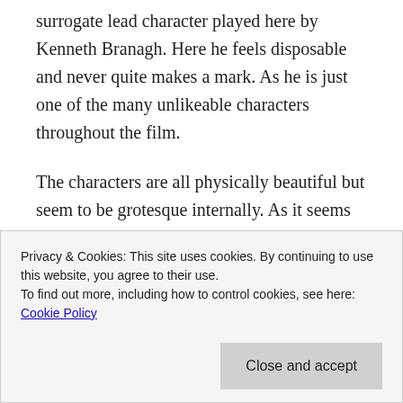surrogate lead character played here by Kenneth Branagh. Here he feels disposable and never quite makes a mark. As he is just one of the many unlikeable characters throughout the film.
The characters are all physically beautiful but seem to be grotesque internally. As it seems only the lead character seems to know better. As he constantly cheats on his wife as his profile seems to rise, but as he slowly gets his comeuppance his suffering wife seems to become famous herself and finds love and good
Privacy & Cookies: This site uses cookies. By continuing to use this website, you agree to their use. To find out more, including how to control cookies, see here: Cookie Policy
Close and accept
web tabloids. A kind of acid commentary on it all.